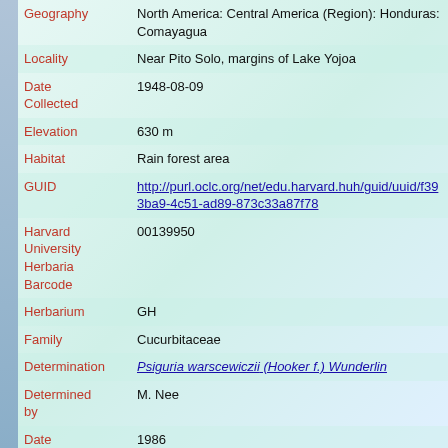| Field | Value |
| --- | --- |
| Geography | North America: Central America (Region): Honduras: Comayagua |
| Locality | Near Pito Solo, margins of Lake Yojoa |
| Date Collected | 1948-08-09 |
| Elevation | 630 m |
| Habitat | Rain forest area |
| GUID | http://purl.oclc.org/net/edu.harvard.huh/guid/uuid/f393ba9-4c51-ad89-873c33a87f78 |
| Harvard University Herbaria Barcode | 00139950 |
| Herbarium | GH |
| Family | Cucurbitaceae |
| Determination | Psiguria warscewiczii (Hooker f.) Wunderlin |
| Determined by | M. Nee |
| Date Determined | 1986 |
| Family | Cucurbitaceae |
| Determination | Psiguria warscewiczii (Hooker f.) Wunderlin |